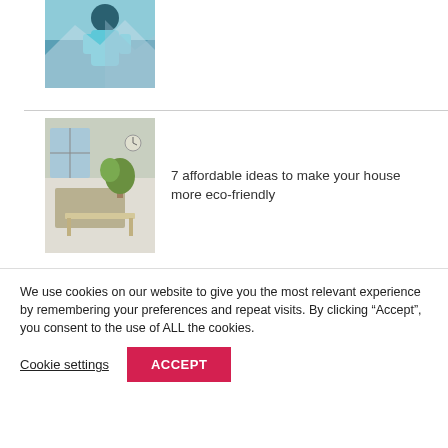[Figure (photo): Partial view of a person in a teal/turquoise jacket against a mountain background — cropped at top]
[Figure (photo): Interior room with plants, dining table and chairs — eco-friendly home]
7 affordable ideas to make your house more eco-friendly
[Figure (photo): Bald man in clerical collar holding a book — priest or church figure]
Top 3 Creative Ideas for Raising Funds for Churches
We use cookies on our website to give you the most relevant experience by remembering your preferences and repeat visits. By clicking “Accept”, you consent to the use of ALL the cookies.
Cookie settings
ACCEPT